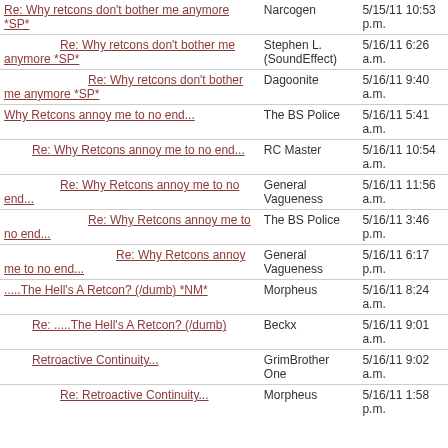| Subject | Author | Date |
| --- | --- | --- |
| Re: Why retcons don't bother me anymore *SP* | Narcogen | 5/15/11 10:53 p.m. |
| Re: Why retcons don't bother me anymore *SP* | Stephen L. (SoundEffect) | 5/16/11 6:26 a.m. |
| Re: Why retcons don't bother me anymore *SP* | Dagoonite | 5/16/11 9:40 a.m. |
| Why Retcons annoy me to no end... | The BS Police | 5/16/11 5:41 a.m. |
| Re: Why Retcons annoy me to no end... | RC Master | 5/16/11 10:54 a.m. |
| Re: Why Retcons annoy me to no end... | General Vagueness | 5/16/11 11:56 a.m. |
| Re: Why Retcons annoy me to no end... | The BS Police | 5/16/11 3:46 p.m. |
| Re: Why Retcons annoy me to no end... | General Vagueness | 5/16/11 6:17 p.m. |
| .....The Hell's A Retcon? (/dumb) *NM* | Morpheus | 5/16/11 8:24 a.m. |
| Re: .....The Hell's A Retcon? (/dumb) | Beckx | 5/16/11 9:01 a.m. |
| Retroactive Continuity... | GrimBrother One | 5/16/11 9:02 a.m. |
| Re: Retroactive Continuity... | Morpheus | 5/16/11 1:58 p.m. |